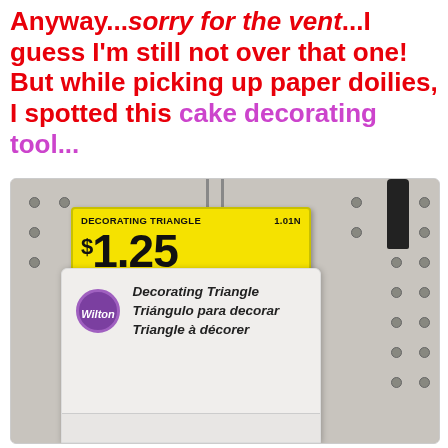Anyway...sorry for the vent...I guess I'm still not over that one! But while picking up paper doilies, I spotted this cake decorating tool...
[Figure (photo): Photo of a store pegboard display showing a Wilton Decorating Triangle product with a yellow price tag reading $1.25, priced at Walmart. The tag shows 'DECORATING TRIANGLE', '1.01N', '$1.25', dept info, and a barcode. The product package shows the Wilton logo and text 'Decorating Triangle / Triángulo para decorar / Triangle à décorer'.]